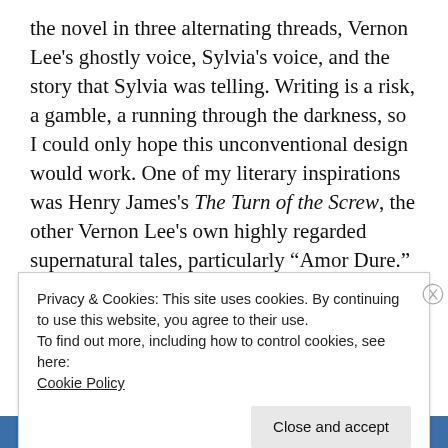the novel in three alternating threads, Vernon Lee's ghostly voice, Sylvia's voice, and the story that Sylvia was telling. Writing is a risk, a gamble, a running through the darkness, so I could only hope this unconventional design would work. One of my literary inspirations was Henry James's The Turn of the Screw, the other Vernon Lee's own highly regarded supernatural tales, particularly “Amor Dure.”
If I share any writing traits with Sylvia, it may
Privacy & Cookies: This site uses cookies. By continuing to use this website, you agree to their use.
To find out more, including how to control cookies, see here: Cookie Policy
Close and accept